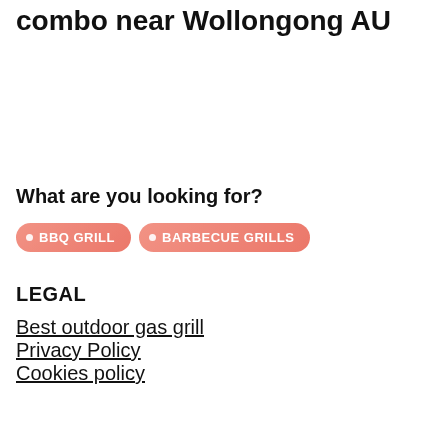combo near Wollongong AU
What are you looking for?
BBQ GRILL
BARBECUE GRILLS
LEGAL
Best outdoor gas grill
Privacy Policy
Cookies policy